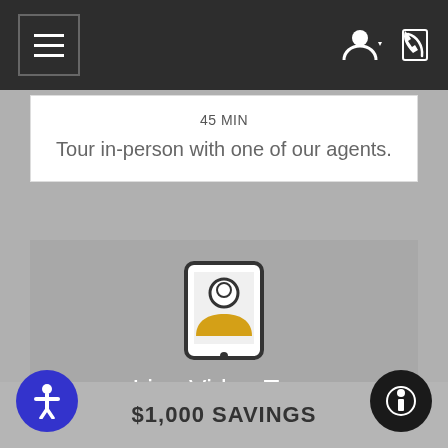Navigation bar with menu icon and user/phone icons
45 MIN
Tour in-person with one of our agents.
[Figure (illustration): Icon of a tablet/phone showing a person silhouette with head and shoulders in yellow/orange color, representing a live video tour]
Live Video Tour
45 MIN
Tour with an agent through a video conference.
$1,000 SAVINGS